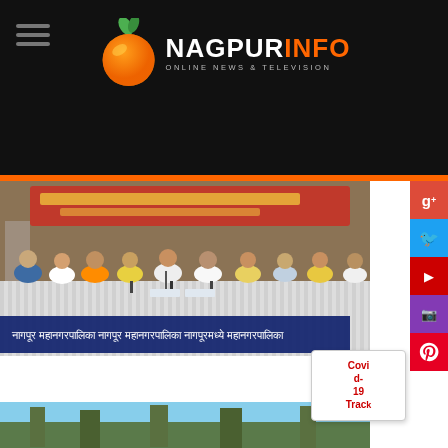NAGPURINFO - ONLINE NEWS & TELEVISION
[Figure (photo): Press conference with multiple people seated at a long table with microphones, red banner in background with Hindi/Marathi text]
Hindi/Marathi headline text about a news story
[Figure (photo): Partial view of another news photo at the bottom of the page showing outdoor scene]